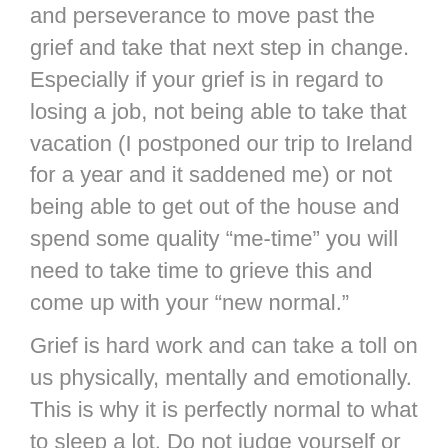and perseverance to move past the grief and take that next step in change. Especially if your grief is in regard to losing a job, not being able to take that vacation (I postponed our trip to Ireland for a year and it saddened me) or not being able to get out of the house and spend some quality “me-time” you will need to take time to grieve this and come up with your “new normal.”
Grief is hard work and can take a toll on us physically, mentally and emotionally. This is why it is perfectly normal to what to sleep a lot. Do not judge yourself or shame yourself for doing so. Honor what your body needs and see how much easier it is to go through this next of your life